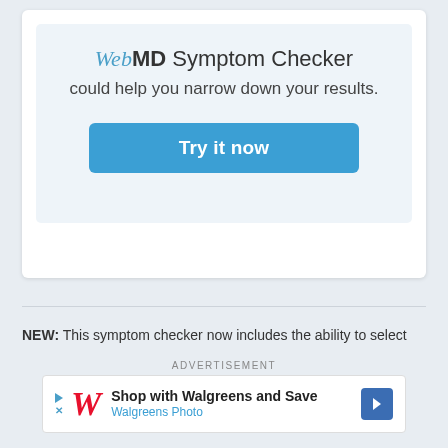[Figure (screenshot): WebMD Symptom Checker promotional card with blue background, showing title 'WebMD Symptom Checker could help you narrow down your results.' and a blue 'Try it now' button]
NEW: This symptom checker now includes the ability to select
ADVERTISEMENT
[Figure (screenshot): Walgreens advertisement banner: 'Shop with Walgreens and Save' with Walgreens Photo subtitle, Walgreens W logo in red, and blue diamond arrow icon]